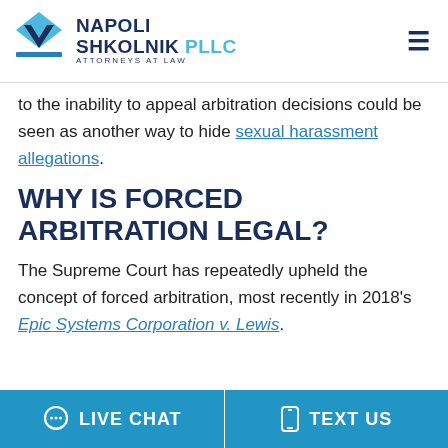Napoli Shkolnik PLLC Attorneys at Law
to the inability to appeal arbitration decisions could be seen as another way to hide sexual harassment allegations.
WHY IS FORCED ARBITRATION LEGAL?
The Supreme Court has repeatedly upheld the concept of forced arbitration, most recently in 2018's Epic Systems Corporation v. Lewis.
LIVE CHAT   TEXT US